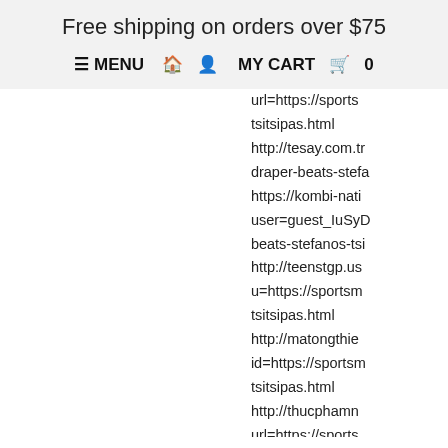Free shipping on orders over $75
≡ MENU 🏠 👤 MY CART 🛍 0
url=https://sports...tsitsipas.html http://tesay.com.t...draper-beats-stefa... https://kombi-nati...user=guest_IuSyD...beats-stefanos-tsi... http://teenstgp.us...u=https://sportsm...tsitsipas.html http://matongthie...id=https://sportsm...tsitsipas.html http://thucphamn...url=https://sports...tsitsipas.html https://comproma...